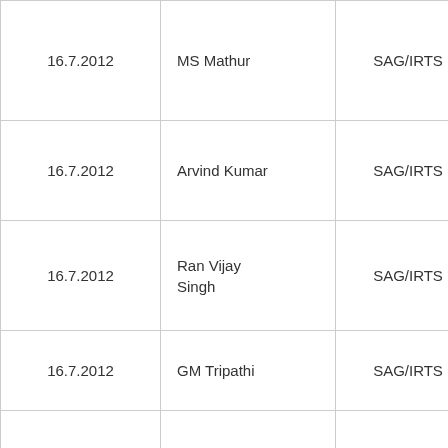| Date | Name | Grade | Remarks |
| --- | --- | --- | --- |
| 16.7.2012 | MS Mathur | SAG/IRTS | On ret fore gr assignm |
| 16.7.2012 | Arvind Kumar | SAG/IRTS | Workin CCM/N |
| 16.7.2012 | Ran Vijay Singh | SAG/IRTS | ER Wor CCM |
| 16.7.2012 | GM Tripathi | SAG/IRTS | ECOR a |
| 16.7.2012 | Guru Das Brahma | SAG/IRTS | ECOR a |
| 16.7.2012 | ... | SAG/IRTS | ECOR |